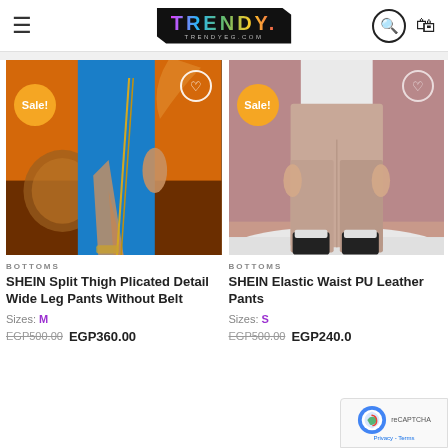TRENDY. TRENDYEG.COM
[Figure (photo): Woman wearing blue wide leg split pants with gold sandals, orange background with wicker chair. Sale badge and heart icon overlay.]
BOTTOMS
SHEIN Split Thigh Plicated Detail Wide Leg Pants Without Belt
Sizes: M
EGP500.00  EGP360.00
[Figure (photo): Woman wearing pink/beige elastic waist PU leather baggy pants with white boots on snowy background. Sale badge and heart icon overlay.]
BOTTOMS
SHEIN Elastic Waist PU Leather Pants
Sizes: S
EGP500.00  EGP240.00